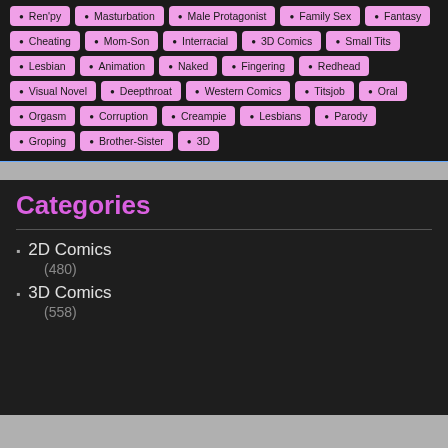Ren'py, Masturbation, Male Protagonist, Family Sex, Fantasy, Cheating, Mom-Son, Interracial, 3D Comics, Small Tits, Lesbian, Animation, Naked, Fingering, Redhead, Visual Novel, Deepthroat, Western Comics, Titsjob, Oral, Orgasm, Corruption, Creampie, Lesbians, Parody, Groping, Brother-Sister, 3D
Categories
2D Comics (480)
3D Comics (558)